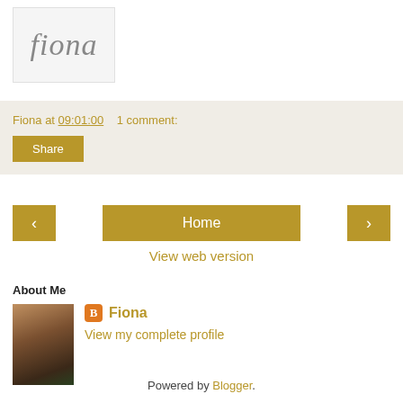[Figure (logo): Fiona blog logo in italic script on light grey background]
Fiona at 09:01:00    1 comment:
Share
[Figure (other): Navigation bar with left arrow, Home button, and right arrow]
View web version
About Me
Fiona
View my complete profile
Powered by Blogger.